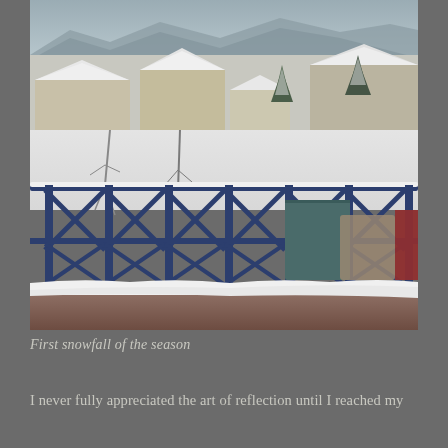[Figure (photo): A winter scene viewed from a balcony with snow-covered blue metal railing in the foreground. Behind the railing are snow-covered rooftops of residential buildings, bare trees, and evergreen trees dusted with snow. Mountains are visible in the background under an overcast gray sky. A teal/dark cloth is hanging on the railing on the right side.]
First snowfall of the season
I never fully appreciated the art of reflection until I reached my